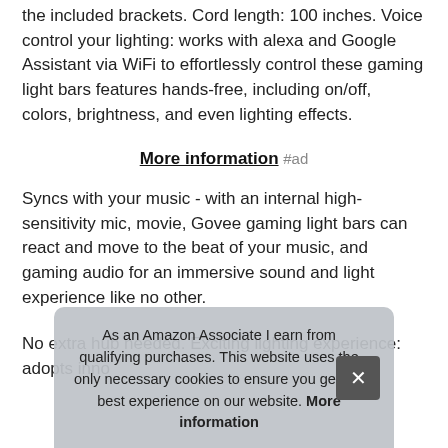the included brackets. Cord length: 100 inches. Voice control your lighting: works with alexa and Google Assistant via WiFi to effortlessly control these gaming light bars features hands-free, including on/off, colors, brightness, and even lighting effects.
More information #ad
Syncs with your music - with an internal high-sensitivity mic, movie, Govee gaming light bars can react and move to the beat of your music, and gaming audio for an immersive sound and light experience like no other.
No extra hub needed. Exciting lighting experience: adopts inno... effe... expo... effe... less...
As an Amazon Associate I earn from qualifying purchases. This website uses the only necessary cookies to ensure you get the best experience on our website. More information